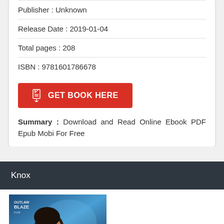Publisher : Unknown
Release Date : 2019-01-04
Total pages : 208
ISBN : 9781601786678
GET BOOK HERE
Summary : Download and Read Online Ebook PDF Epub Mobi For Free
Knox
[Figure (photo): Book cover showing a bearded man in profile against a blue background, with text 'OUTLAW BLAZE' visible]